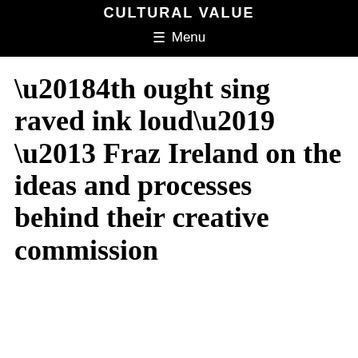CULTURAL VALUE
≡ Menu
'4th ought sing raved ink loud' – Fraz Ireland on the ideas and processes behind their creative commission